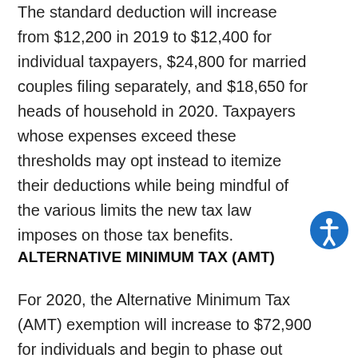The standard deduction will increase from $12,200 in 2019 to $12,400 for individual taxpayers, $24,800 for married couples filing separately, and $18,650 for heads of household in 2020. Taxpayers whose expenses exceed these thresholds may opt instead to itemize their deductions while being mindful of the various limits the new tax law imposes on those tax benefits.
ALTERNATIVE MINIMUM TAX (AMT)
For 2020, the Alternative Minimum Tax (AMT) exemption will increase to $72,900 for individuals and begin to phase out when income reached